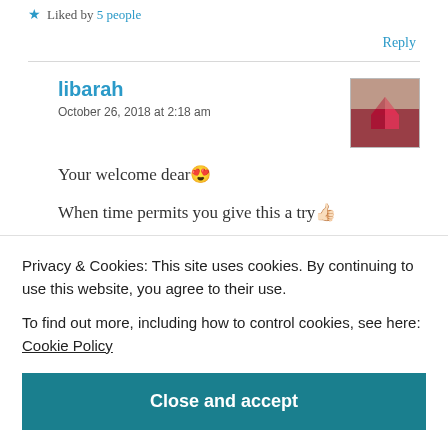★ Liked by 5 people
Reply
libarah
October 26, 2018 at 2:18 am
Your welcome dear 😍
When time permits you give this a try 👍
★ Liked by 1 person
Privacy & Cookies: This site uses cookies. By continuing to use this website, you agree to their use.
To find out more, including how to control cookies, see here: Cookie Policy
Close and accept